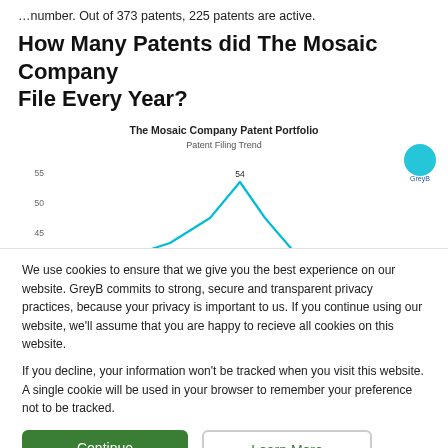…number. Out of 373 patents, 225 patents are active.
How Many Patents did The Mosaic Company File Every Year?
[Figure (line-chart): Line chart showing patent filing trend with a peak of 54 patents. Y-axis shows values 55, 50, 45. Cyan/teal line rises sharply to peak of 54 then drops.]
We use cookies to ensure that we give you the best experience on our website. GreyB commits to strong, secure and transparent privacy practices, because your privacy is important to us. If you continue using our website, we'll assume that you are happy to recieve all cookies on this website.

If you decline, your information won't be tracked when you visit this website. A single cookie will be used in your browser to remember your preference not to be tracked.
Continue
Learn More